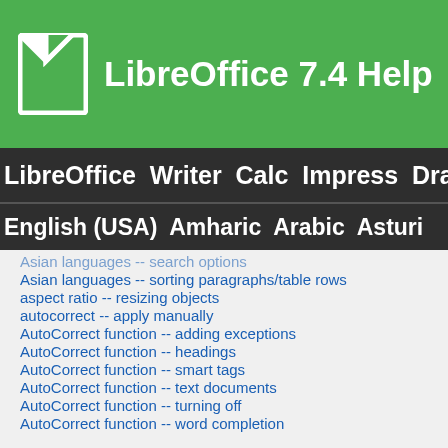LibreOffice 7.4 Help
LibreOffice  Writer  Calc  Impress  Draw
English (USA)  Amharic  Arabic  Asturian
Asian languages -- search options
Asian languages -- sorting paragraphs/table rows
aspect ratio -- resizing objects
autocorrect -- apply manually
AutoCorrect function -- adding exceptions
AutoCorrect function -- headings
AutoCorrect function -- smart tags
AutoCorrect function -- text documents
AutoCorrect function -- turning off
AutoCorrect function -- word completion
Fine-Tuning the Word Completion for Text